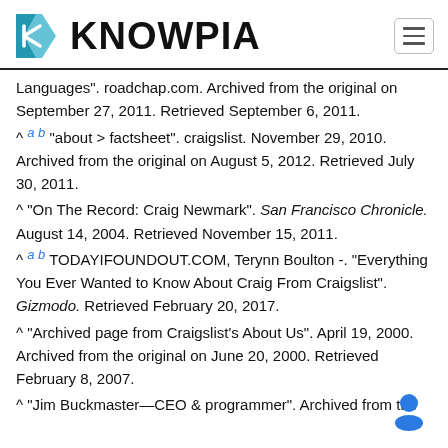KNOWPIA
Languages". roadchap.com. Archived from the original on September 27, 2011. Retrieved September 6, 2011.
^ a b "about > factsheet". craigslist. November 29, 2010. Archived from the original on August 5, 2012. Retrieved July 30, 2011.
^ "On The Record: Craig Newmark". San Francisco Chronicle. August 14, 2004. Retrieved November 15, 2011.
^ a b TODAYIFOUNDOUT.COM, Terynn Boulton -. "Everything You Ever Wanted to Know About Craig From Craigslist". Gizmodo. Retrieved February 20, 2017.
^ "Archived page from Craigslist's About Us". April 19, 2000. Archived from the original on June 20, 2000. Retrieved February 8, 2007.
^ "Jim Buckmaster—CEO & programmer". Archived from the